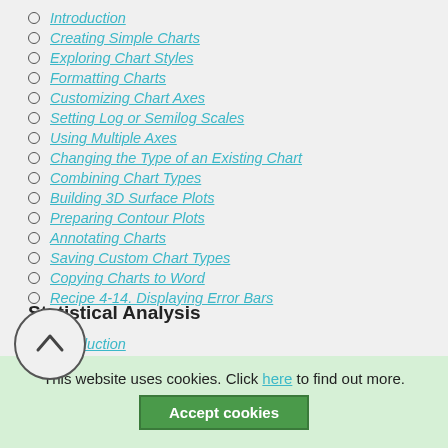Introduction
Creating Simple Charts
Exploring Chart Styles
Formatting Charts
Customizing Chart Axes
Setting Log or Semilog Scales
Using Multiple Axes
Changing the Type of an Existing Chart
Combining Chart Types
Building 3D Surface Plots
Preparing Contour Plots
Annotating Charts
Saving Custom Chart Types
Copying Charts to Word
Recipe 4-14. Displaying Error Bars
Statistical Analysis
Introduction
Computing Summary Statistics
This website uses cookies. Click here to find out more.
Accept cookies